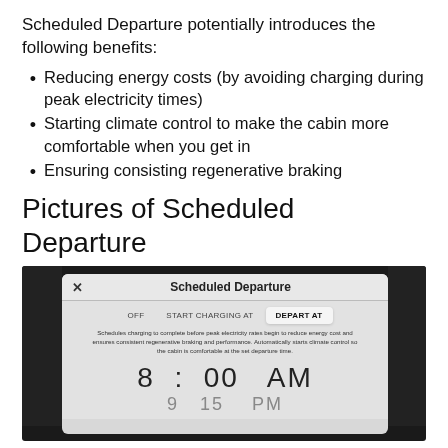Scheduled Departure potentially introduces the following benefits:
Reducing energy costs (by avoiding charging during peak electricity times)
Starting climate control to make the cabin more comfortable when you get in
Ensuring consisting regenerative braking
Pictures of Scheduled Departure
[Figure (screenshot): Tesla touchscreen showing Scheduled Departure interface with OFF, START CHARGING AT, and DEPART AT tabs. DEPART AT tab is selected (highlighted). Description text reads: Schedules charging to complete before peak electricity rates begin to reduce energy cost and ensures consistent regenerative braking and performance. Automatically starts climate control so the cabin is comfortable at the set departure time. Time shown: 8 : 00 AM]